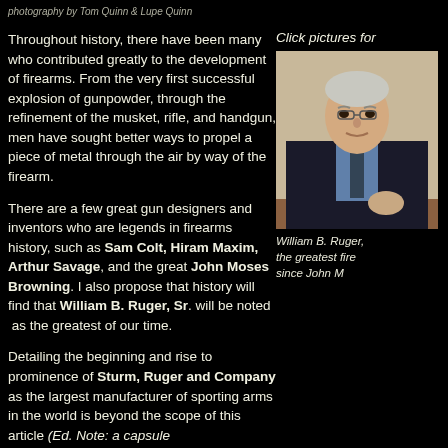photography by Tom Quinn & Lupe Quinn
Throughout history, there have been many who contributed greatly to the development of firearms. From the very first successful explosion of gunpowder, through the refinement of the musket, rifle, and handgun, men have sought better ways to propel a piece of metal through the air by way of the firearm.
Click pictures for
There are a few great gun designers and inventors who are legends in firearms history, such as Sam Colt, Hiram Maxim, Arthur Savage, and the great John Moses Browning. I also propose that history will find that William B. Ruger, Sr. will be noted as the greatest of our time.
[Figure (photo): Portrait photo of William B. Ruger Sr., an older man in a dark suit with a tie, seated at a desk]
Detailing the beginning and rise to prominence of Sturm, Ruger and Company as the largest manufacturer of sporting arms in the world is beyond the scope of this article (Ed. Note: a capsule
William B. Ruger, the greatest fire since John M